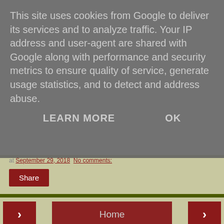This site uses cookies from Google to deliver its services and to analyze traffic. Your IP address and user-agent are shared with Google along with performance and security metrics to ensure quality of service, generate usage statistics, and to detect and address abuse.
LEARN MORE   OK
at September 29, 2018   No comments:
Share
‹   Home   ›
View web version
ABOUT ME
Prayer4UKToday.co.uk
View my complete profile
Powered by Blogger.